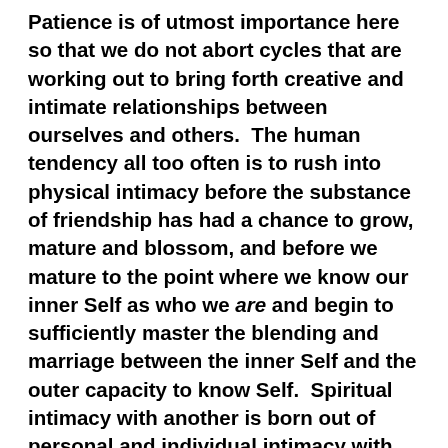Patience is of utmost importance here so that we do not abort cycles that are working out to bring forth creative and intimate relationships between ourselves and others.  The human tendency all too often is to rush into physical intimacy before the substance of friendship has had a chance to grow, mature and blossom, and before we mature to the point where we know our inner Self as who we are and begin to sufficiently master the blending and marriage between the inner Self and the outer capacity to know Self.  Spiritual intimacy with another is born out of personal and individual intimacy with the Truth of Love that alone brings forth Life.  Spiritual intimacy, then, prepares the way for the experience of the magical and sacred alchemy of